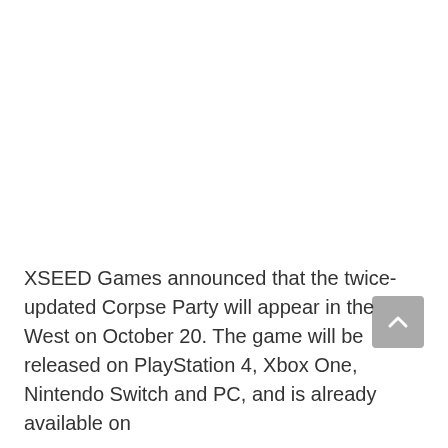XSEED Games announced that the twice-updated Corpse Party will appear in the West on October 20. The game will be released on PlayStation 4, Xbox One, Nintendo Switch and PC, and is already available on